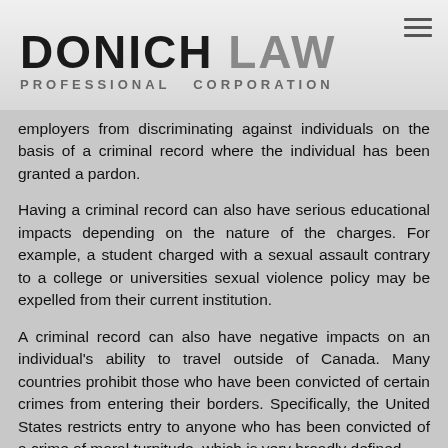[Figure (logo): Donich Law Professional Corporation logo in black and grey text]
employers from discriminating against individuals on the basis of a criminal record where the individual has been granted a pardon.
Having a criminal record can also have serious educational impacts depending on the nature of the charges. For example, a student charged with a sexual assault contrary to a college or universities sexual violence policy may be expelled from their current institution.
A criminal record can also have negative impacts on an individual's ability to travel outside of Canada. Many countries prohibit those who have been convicted of certain crimes from entering their borders. Specifically, the United States restricts entry to anyone who has been convicted of a crime of moral turpitude, which is very broadly defined.